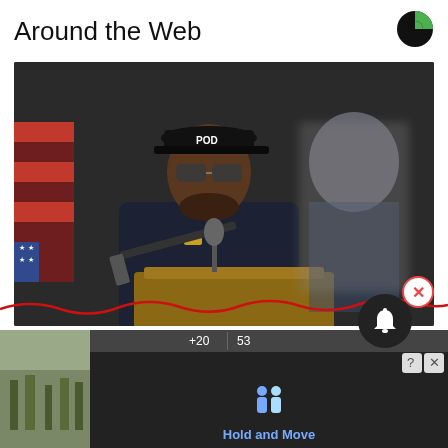Around the Web
[Figure (logo): Outbrain-style circular logo icon in top right, dark circle with green segment]
[Figure (photo): Police officer in dark uniform and POD cap holding a rifle, speaking at a wooden podium with microphone, American flag behind him, a blurred person in background]
Virginia Launches New Policy for Cars Used Less Than 50 Miles/day
[Figure (screenshot): Bottom portion showing a notification bell button, close X button in red circle, red wavy line, and a partial ad/game screenshot with 'Hold and Move' text]